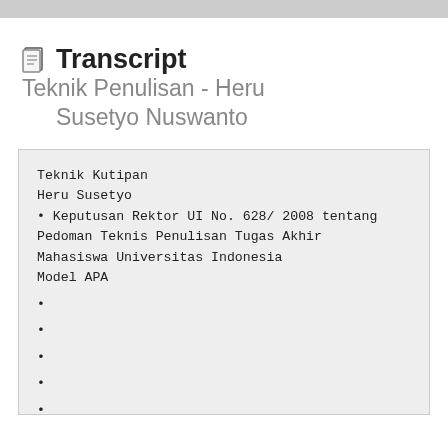Transcript  Teknik Penulisan - Heru Susetyo Nuswanto
Teknik Kutipan
Heru Susetyo
• Keputusan Rektor UI No. 628/ 2008 tentang Pedoman Teknis Penulisan Tugas Akhir Mahasiswa Universitas Indonesia
Model APA
•
•
•
•
•
•
•
•